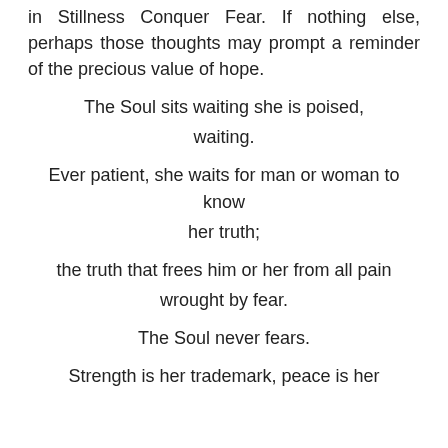in Stillness Conquer Fear. If nothing else, perhaps those thoughts may prompt a reminder of the precious value of hope.
The Soul sits waiting she is poised,
waiting.
Ever patient, she waits for man or woman to know
her truth;
the truth that frees him or her from all pain
wrought by fear.
The Soul never fears.
Strength is her trademark, peace is her